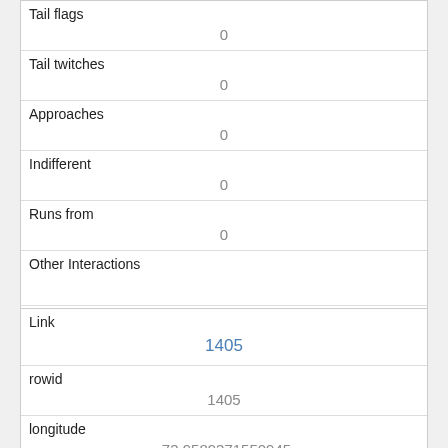| Tail flags | 0 |
| Tail twitches | 0 |
| Approaches | 0 |
| Indifferent | 0 |
| Runs from | 0 |
| Other Interactions |  |
| Lat/Long | POINT (-73.9528353702209 40.7976456178263) |
| Link | 1405 |
| rowid | 1405 |
| longitude | -73.9589371550945 |